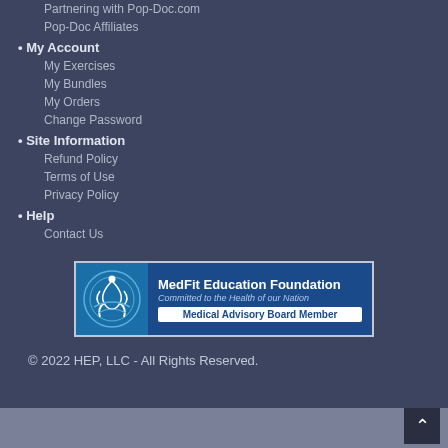Partnering with Pop-Doc.com
Pop-Doc Affiliates
• My Account
My Exercises
My Bundles
My Orders
Change Password
• Site Information
Refund Policy
Terms of Use
Privacy Policy
• Help
Contact Us
[Figure (logo): MedFit Education Foundation badge - Committed to the Health of our Nation - Medical Advisory Board Member]
© 2022 HEP, LLC - All Rights Reserved.